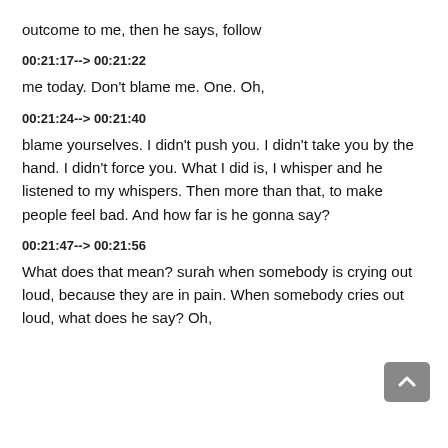outcome to me, then he says, follow
00:21:17--> 00:21:22
me today. Don't blame me. One. Oh,
00:21:24--> 00:21:40
blame yourselves. I didn't push you. I didn't take you by the hand. I didn't force you. What I did is, I whisper and he listened to my whispers. Then more than that, to make people feel bad. And how far is he gonna say?
00:21:47--> 00:21:56
What does that mean? surah when somebody is crying out loud, because they are in pain. When somebody cries out loud, what does he say? Oh,